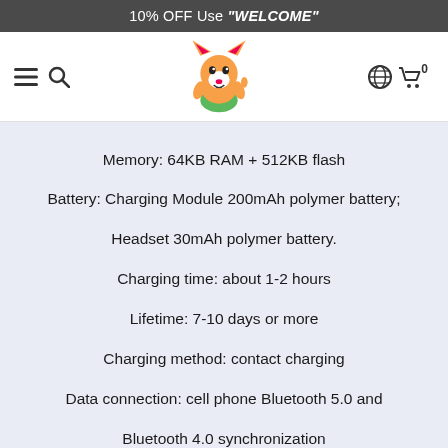10% OFF Use "WELCOME"
[Figure (logo): Fox mascot logo with thumbs up, navigation bar with hamburger menu, search icon, globe icon, and shopping cart showing 0 items]
Memory: 64KB RAM + 512KB flash
Battery: Charging Module 200mAh polymer battery; Headset 30mAh polymer battery.
Charging time: about 1-2 hours
Lifetime: 7-10 days or more
Charging method: contact charging
Data connection: cell phone Bluetooth 5.0 and Bluetooth 4.0 synchronization
Data storage: local and cloud servers
Vibration: real-time vibration reminder
Compatible systems: Android 4.4 and above; ios 8.0 and above
APP language: English, Japanese, Korean, German, Russian, Spanish, Italian, French, Vietnamese, Chinese Traditional, Portuguese 12 languages